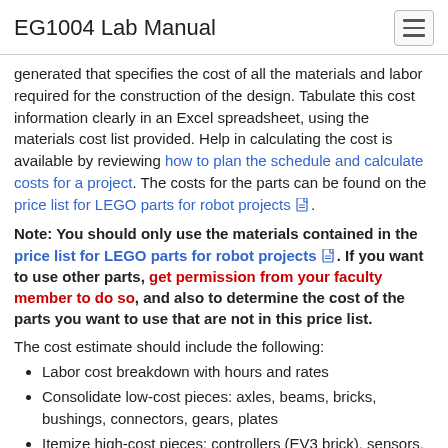EG1004 Lab Manual
generated that specifies the cost of all the materials and labor required for the construction of the design. Tabulate this cost information clearly in an Excel spreadsheet, using the materials cost list provided. Help in calculating the cost is available by reviewing how to plan the schedule and calculate costs for a project. The costs for the parts can be found on the price list for LEGO parts for robot projects.
Note: You should only use the materials contained in the price list for LEGO parts for robot projects. If you want to use other parts, get permission from your faculty member to do so, and also to determine the cost of the parts you want to use that are not in this price list.
The cost estimate should include the following:
Labor cost breakdown with hours and rates
Consolidate low-cost pieces: axles, beams, bricks, bushings, connectors, gears, plates
Itemize high-cost pieces: controllers (EV3 brick), sensors, motors
No decimal places: this is an estimate after all. Round